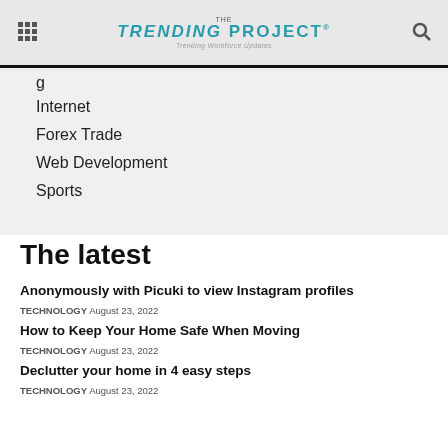The TRENDING PROJECT® — Trending Workforce Updates
g
Internet
Forex Trade
Web Development
Sports
The latest
Anonymously with Picuki to view Instagram profiles
TECHNOLOGY  August 23, 2022
How to Keep Your Home Safe When Moving
TECHNOLOGY  August 23, 2022
Declutter your home in 4 easy steps
TECHNOLOGY  August 23, 2022